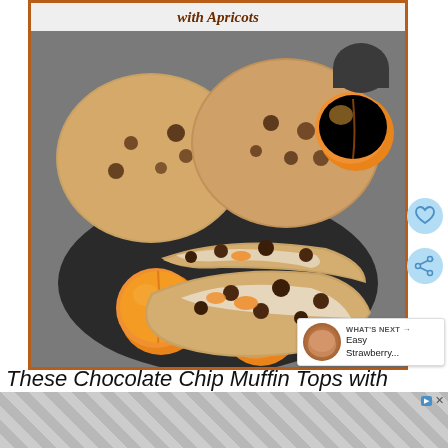with Apricots
[Figure (photo): Photo of chocolate chip muffin tops/cookies with apricots on a dark plate, with fresh apricots and a dark cup in the background. A halved cookie shows chocolate chips and apricot pieces inside.]
These Chocolate Chip Muffin Tops with
Ap... ...e ~